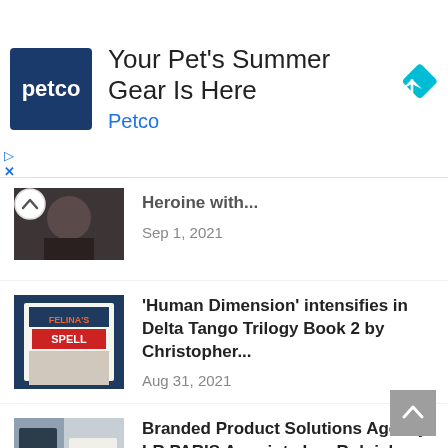[Figure (screenshot): Petco advertisement banner with Petco logo, text 'Your Pet's Summer Gear Is Here', 'Petco' subtitle, and a blue diamond navigation icon]
Heroine with...
Sep 1, 2021
[Figure (photo): Book cover for 'Felina's Spell', part of the Delta Tango Trilogy]
'Human Dimension' intensifies in Delta Tango Trilogy Book 2 by Christopher...
Aug 31, 2021
[Figure (photo): Product photo showing dark plaid blanket/throw and home goods]
Branded Product Solutions Agency LR PARIS Appoints Lee Rolnick as Head...
Aug 19, 2021